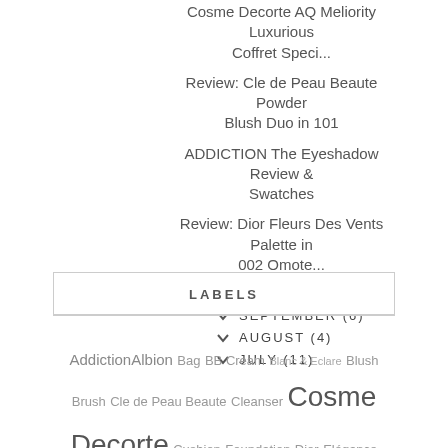Cosme Decorte AQ Meliority Luxurious Coffret Speci...
Review: Cle de Peau Beaute Powder Blush Duo in 101
ADDICTION The Eyeshadow Review & Swatches
Review: Dior Fleurs Des Vents Palette in 002 Omote...
OCTOBER (6)
SEPTEMBER (6)
AUGUST (4)
JULY (11)
LABELS
Addiction Albion Bag BB Cream Blanc & Eclare Blush Brush Cle de Peau Beaute Cleanser Cosme Decorte Cushion Foundation Dior Elégance Eyebrow Eyeliner Eyeshadow Fashion Foundation Gucci Hakuhodo Highlighter IPSA Laneige Lip Gloss Lipstick Lunasol Makeup Moisturizer Powder Primer Review RMK